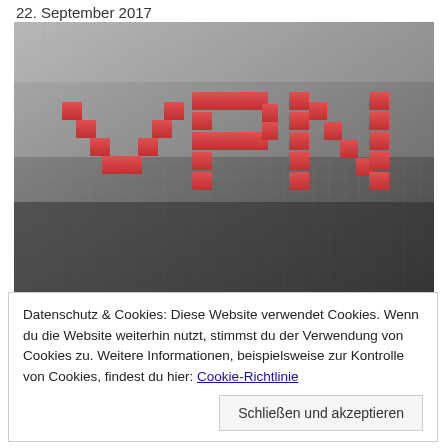22. September 2017
[Figure (photo): 3D pixel/cube art rendering of the word VPN in red cubes on a gray cube grid background, perspective view]
Datenschutz & Cookies: Diese Website verwendet Cookies. Wenn du die Website weiterhin nutzt, stimmst du der Verwendung von Cookies zu. Weitere Informationen, beispielsweise zur Kontrolle von Cookies, findest du hier: Cookie-Richtlinie
Schließen und akzeptieren